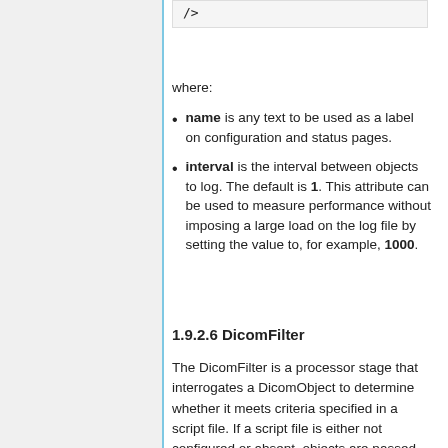/>
where:
name is any text to be used as a label on configuration and status pages.
interval is the interval between objects to log. The default is 1. This attribute can be used to measure performance without imposing a large load on the log file by setting the value to, for example, 1000.
1.9.2.6 DicomFilter
The DicomFilter is a processor stage that interrogates a DicomObject to determine whether it meets criteria specified in a script file. If a script file is either not configured or absent, objects are passed on unmodified. If a